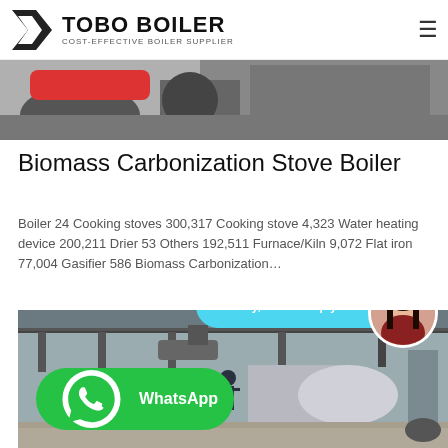TOBO BOILER — COST-EFFECTIVE BOILER SUPPLIER
[Figure (photo): Partial photo strip showing industrial/boiler equipment at top of page]
Biomass Carbonization Stove Boiler
Boiler 24 Cooking stoves 300,317 Cooking stove 4,323 Water heating device 200,211 Drier 53 Others 192,511 Furnace/Kiln 9,072 Flat iron 77,004 Gasifier 586 Biomass Carbonization…
[Figure (photo): Industrial boiler facility interior with large horizontal boiler tanks, steel structure, and workers; WhatsApp chat overlay and avatar visible]